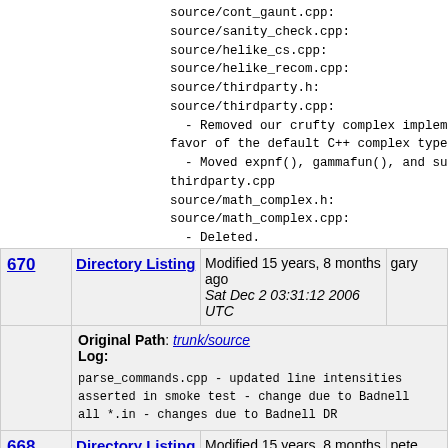source/cont_gaunt.cpp:
source/sanity_check.cpp:
source/helike_cs.cpp:
source/helike_recom.cpp:
source/thirdparty.h:
source/thirdparty.cpp:
  - Removed our crufty complex implementation in
favor of the default C++ complex type.
  - Moved expnf(), gammafun(), and subsidiaries
thirdparty.cpp
source/math_complex.h:
source/math_complex.cpp:
  - Deleted.
| Rev | Type | Details | Author |
| --- | --- | --- | --- |
| 670 | Directory Listing | Modified 15 years, 8 months ago
Sat Dec 2 03:31:12 2006 UTC | gary |
|  |  | Original Path: trunk/source
Log:

parse_commands.cpp - updated line intensities
asserted in smoke test - change due to Badnell
all *.in - changes due to Badnell DR |  |
| 668 | Directory Listing | Modified 15 years, 8 months ago
months ago | pete |